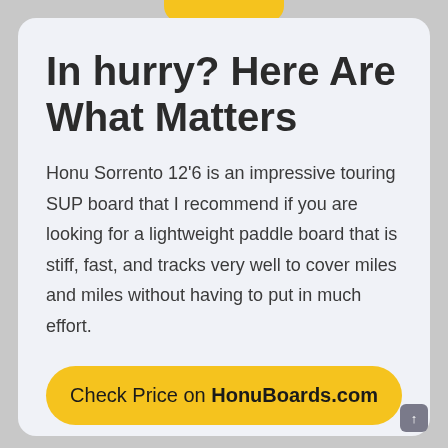In hurry? Here Are What Matters
Honu Sorrento 12'6 is an impressive touring SUP board that I recommend if you are looking for a lightweight paddle board that is stiff, fast, and tracks very well to cover miles and miles without having to put in much effort.
Check Price on HonuBoards.com